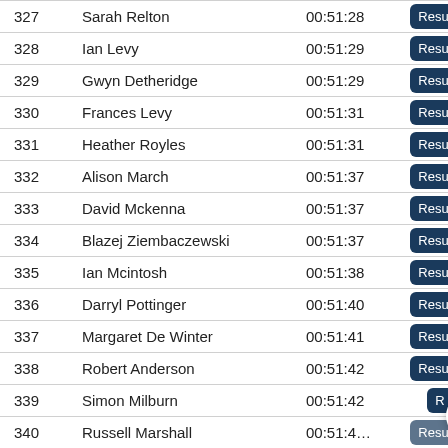| # | Name | Time |  |
| --- | --- | --- | --- |
| 327 | Sarah Relton | 00:51:28 | Results |
| 328 | Ian Levy | 00:51:29 | Results |
| 329 | Gwyn Detheridge | 00:51:29 | Results |
| 330 | Frances Levy | 00:51:31 | Results |
| 331 | Heather Royles | 00:51:31 | Results |
| 332 | Alison March | 00:51:37 | Results |
| 333 | David Mckenna | 00:51:37 | Results |
| 334 | Blazej Ziembaczewski | 00:51:37 | Results |
| 335 | Ian Mcintosh | 00:51:38 | Results |
| 336 | Darryl Pottinger | 00:51:40 | Results |
| 337 | Margaret De Winter | 00:51:41 | Results |
| 338 | Robert Anderson | 00:51:42 | Results |
| 339 | Simon Milburn | 00:51:42 | R… |
| 340 | Russell Marshall | 00:51:4… | Results |